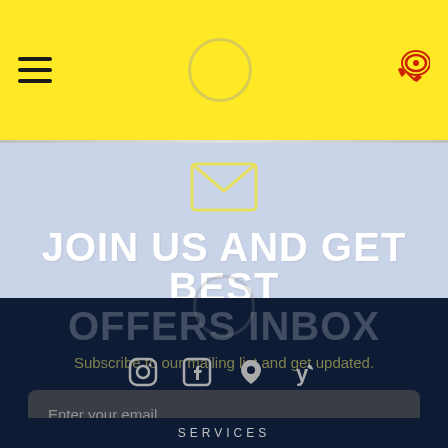[Figure (screenshot): Yellow header navigation bar with hamburger menu icon on left, circular logo placeholder in center, and red phone/call icon on right]
[Figure (illustration): Email envelope icon in yellow outline on light blue background]
JOIN US AND GET BEST OFFERS INBOX
Subscribe to our mailing list and get updated.
[Figure (screenshot): Social media icons row: Instagram, Facebook, location pin, Yelp]
Enter your email ...
SERVICES